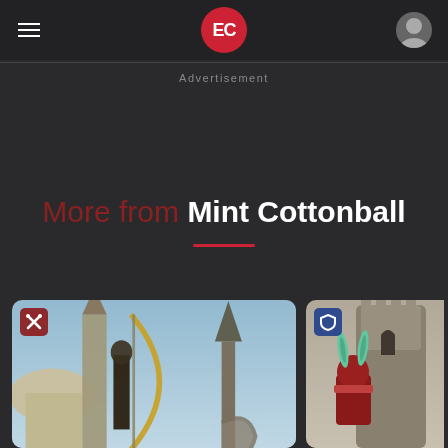EC (logo) — navigation header with hamburger menu and user icon
Advertisement
More from Mint Cottonball
[Figure (screenshot): Two game screenshot cards side by side. Left card shows a fantasy character with a large weapon/bow near architectural structures under a blue sky, with a red crossed-arrows badge in top left. Right card shows an armored character with mint/teal rabbit ears and red armor in front of a stone castle tower, with a blue shield badge in top left.]